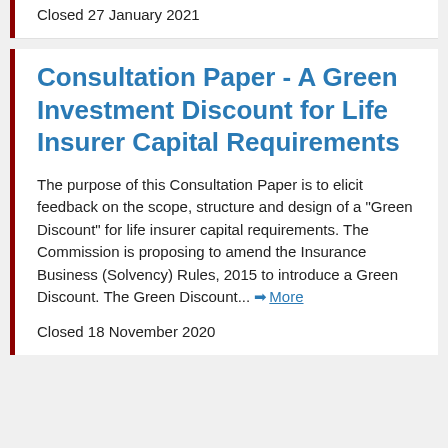Closed 27 January 2021
Consultation Paper - A Green Investment Discount for Life Insurer Capital Requirements
The purpose of this Consultation Paper is to elicit feedback on the scope, structure and design of a "Green Discount" for life insurer capital requirements. The Commission is proposing to amend the Insurance Business (Solvency) Rules, 2015 to introduce a Green Discount. The Green Discount... More
Closed 18 November 2020